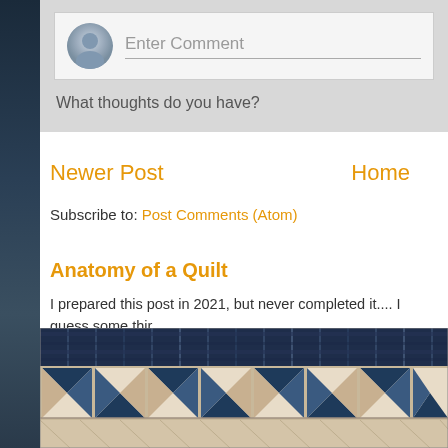[Figure (screenshot): Comment input box with avatar icon and 'Enter Comment' placeholder text on grey background]
What thoughts do you have?
Newer Post
Home
Subscribe to: Post Comments (Atom)
Anatomy of a Quilt
I prepared this post in 2021, but never completed it.... I guess some thi... post, just take time!! Quilts that I ...
[Figure (photo): Photo of a blue and white quilt with geometric triangle and square patterns, with rolls of blue fabric visible at top]